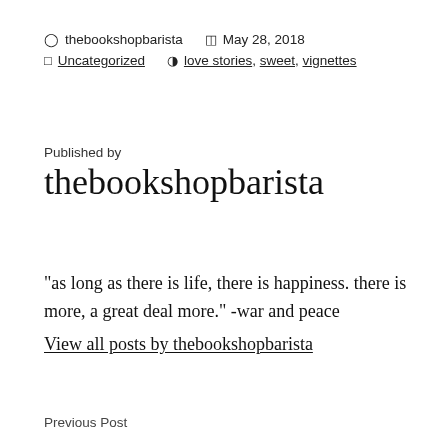thebookshopbarista   May 28, 2018   Uncategorized   love stories, sweet, vignettes
Published by
thebookshopbarista
"as long as there is life, there is happiness. there is more, a great deal more." -war and peace
View all posts by thebookshopbarista
Previous Post